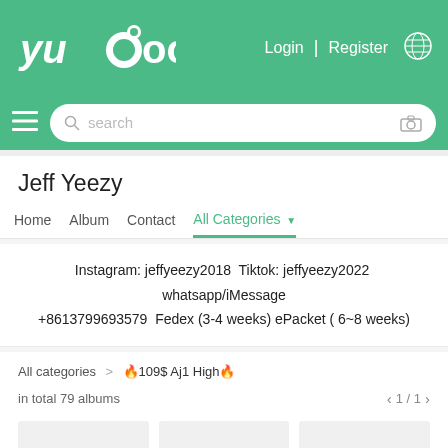Yupoo  Login | Register
Jeff Yeezy
Home  Album  Contact  All Categories
Instagram: jeffyeezy2018  Tiktok: jeffyeezy2022  whatsapp/iMessage +8613799693579  Fedex (3-4 weeks) ePacket ( 6~8 weeks)
All categories > 🔥109$ Aj1 High🔥
in total 79 albums
[Figure (screenshot): Three empty album card thumbnails in a grid]